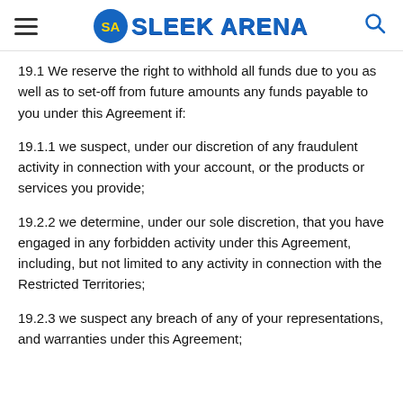SLEEK ARENA
19.1 We reserve the right to withhold all funds due to you as well as to set-off from future amounts any funds payable to you under this Agreement if:
19.1.1 we suspect, under our discretion of any fraudulent activity in connection with your account, or the products or services you provide;
19.2.2 we determine, under our sole discretion, that you have engaged in any forbidden activity under this Agreement, including, but not limited to any activity in connection with the Restricted Territories;
19.2.3 we suspect any breach of any of your representations, and warranties under this Agreement;